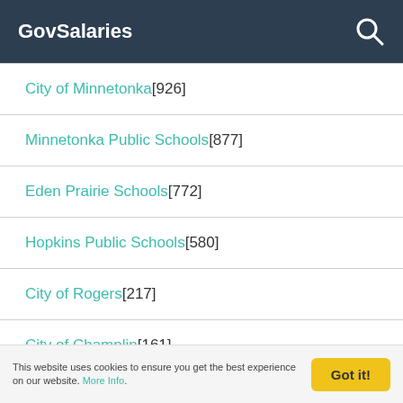GovSalaries
City of Minnetonka [926]
Minnetonka Public Schools [877]
Eden Prairie Schools [772]
Hopkins Public Schools [580]
City of Rogers [217]
City of Champlin [161]
Rockford Public Schools [129]
This website uses cookies to ensure you get the best experience on our website. More Info.